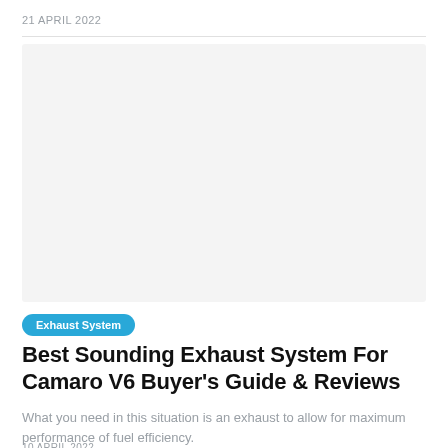21 APRIL 2022
[Figure (photo): Large placeholder/blank image area for a Camaro exhaust system article]
Exhaust System
Best Sounding Exhaust System For Camaro V6 Buyer's Guide & Reviews
What you need in this situation is an exhaust to allow for maximum performance of fuel efficiency.
10 APRIL 2022